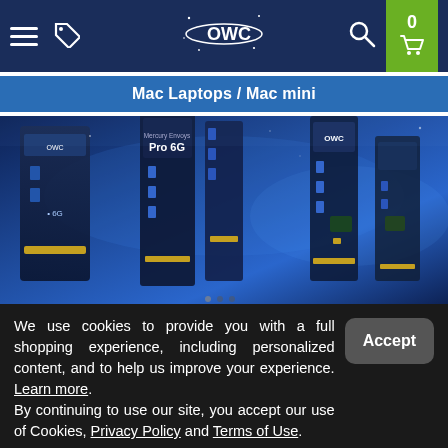[Figure (screenshot): OWC website navigation bar with hamburger menu, tag icon, OWC logo, search icon, and green cart box showing 0 items]
Mac Laptops / Mac mini
[Figure (photo): Hero image showing various OWC SSD drives including Mercury Pro 6G on a blue background]
We use cookies to provide you with a full shopping experience, including personalized content, and to help us improve your experience. Learn more. By continuing to use our site, you accept our use of Cookies, Privacy Policy and Terms of Use.